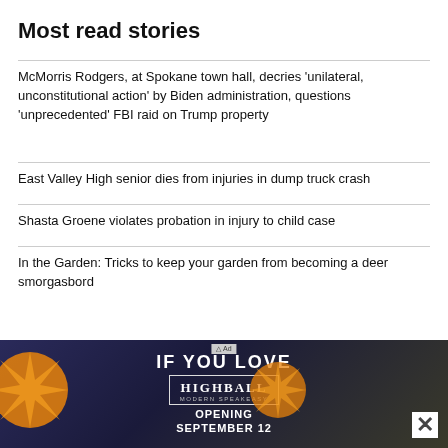Most read stories
McMorris Rodgers, at Spokane town hall, decries 'unilateral, unconstitutional action' by Biden administration, questions 'unprecedented' FBI raid on Trump property
East Valley High senior dies from injuries in dump truck crash
Shasta Groene violates probation in injury to child case
In the Garden: Tricks to keep your garden from becoming a deer smorgasbord
[Figure (screenshot): Advertisement banner for Highball Modern Speakeasy, opening September 12. Dark blue background with orange decorative elements, text reads IF YOU LOVE, HIGHBALL MODERN SPEAKEASY, OPENING SEPTEMBER 12.]